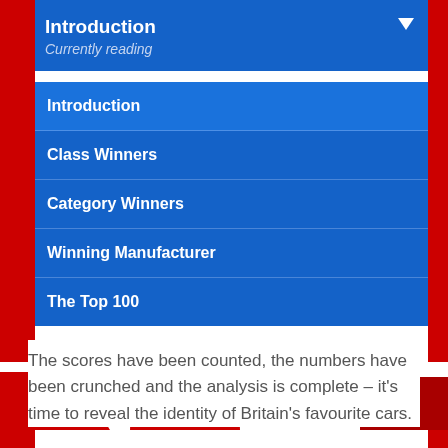Introduction
Currently reading
Introduction
Class Winners
Category Winners
Winning Manufacturer
The Top 100
[Figure (photo): Red and white car design graphic/logo visible behind and around the navigation menu]
The scores have been counted, the numbers have been crunched and the analysis is complete – it's time to reveal the identity of Britain's favourite cars.